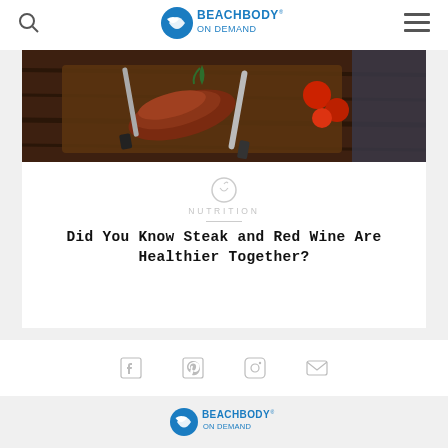Beachbody On Demand
[Figure (photo): Food photo showing sliced steak on a dark wooden cutting board with tomatoes, a fork, and a knife]
NUTRITION
Did You Know Steak and Red Wine Are Healthier Together?
[Figure (infographic): Social media sharing icons: Facebook, Pinterest, Instagram, Email]
[Figure (logo): Beachbody On Demand logo]